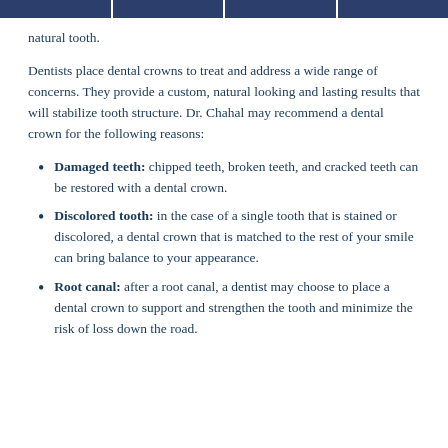natural tooth.
Dentists place dental crowns to treat and address a wide range of concerns. They provide a custom, natural looking and lasting results that will stabilize tooth structure. Dr. Chahal may recommend a dental crown for the following reasons:
Damaged teeth: chipped teeth, broken teeth, and cracked teeth can be restored with a dental crown.
Discolored tooth: in the case of a single tooth that is stained or discolored, a dental crown that is matched to the rest of your smile can bring balance to your appearance.
Root canal: after a root canal, a dentist may choose to place a dental crown to support and strengthen the tooth and minimize the risk of loss down the road.